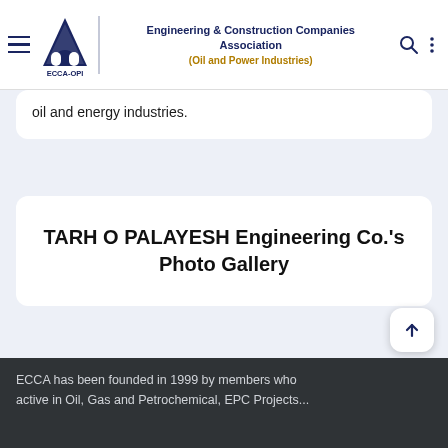Engineering & Construction Companies Association (Oil and Power Industries) | ECCA-OPI
oil and energy industries.
TARH O PALAYESH Engineering Co.'s Photo Gallery
ECCA has been founded in 1999 by members who active in Oil, Gas and Petrochemical, EPC Projects...